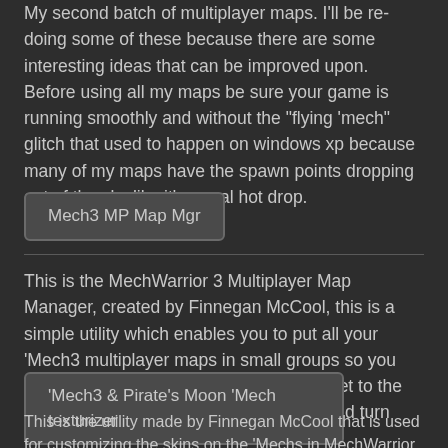My second batch of multiplayer maps. I'll be re-doing some of these because there are some interesting ideas that can be improved upon. Before using all my maps be sure your game is running smoothly and without the "flying 'mech" glitch that used to happen on windows xp because many of my maps have the spawn points dropping out of the sky like it's a real hot drop.
[Figure (screenshot): Button labeled 'Mech3 MP Map Mgr' with dark background and border]
This is the MechWarrior 3 Multiplayer Map Manager, created by Finnegan McCool, this is a simple utility which enables you to put all your 'Mech3 multiplayer maps in small groups so you don't have to scroll through so many to get to the ones you want. You can create groups and turn them on or off.
[Figure (screenshot): Button labeled "'Mech3 & Pirate's Moon 'Mech texturizer" with dark background and border]
This is the utility made by Finnegan McCool that is used for customizing the skins on the 'Mechs in MechWarrior 3 and Pirate's Moon.